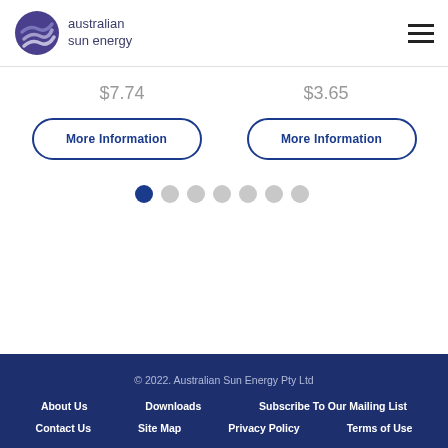Australian Sun Energy
$7.74
$3.65
More Information
More Information
[Figure (other): Carousel pagination dots, 7 dots with first dot active (dark blue), rest grey]
© 2022. Australian Sun Energy Pty Ltd
About Us   Downloads   Subscribe To Our Mailing List
Contact Us   Site Map   Privacy Policy   Terms of Use